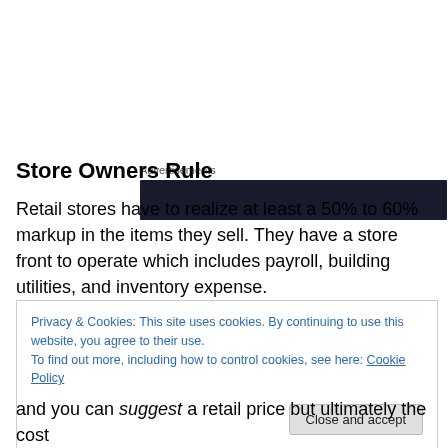[Figure (other): Advertisements banner — dark rectangular ad block with label 'Advertisements' above it]
Store Owners Rule
Retail stores have to realize at least a 50% to 60% markup in the items they sell. They have a store front to operate which includes payroll, building utilities, and inventory expense.
Privacy & Cookies: This site uses cookies. By continuing to use this website, you agree to their use.
To find out more, including how to control cookies, see here: Cookie Policy
Close and accept
and you can suggest a retail price but ultimately the cost